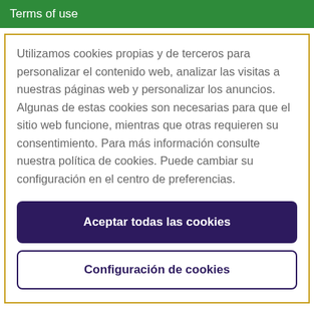Terms of use
Utilizamos cookies propias y de terceros para personalizar el contenido web, analizar las visitas a nuestras páginas web y personalizar los anuncios. Algunas de estas cookies son necesarias para que el sitio web funcione, mientras que otras requieren su consentimiento. Para más información consulte nuestra política de cookies. Puede cambiar su configuración en el centro de preferencias.
Aceptar todas las cookies
Configuración de cookies